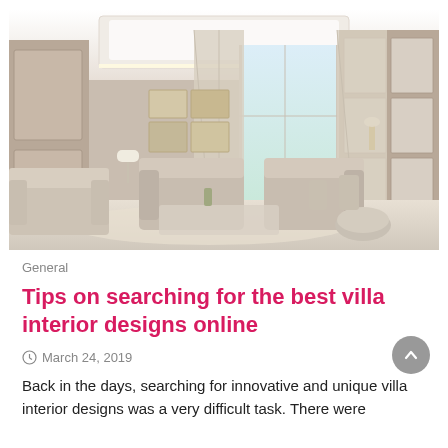[Figure (photo): Elegant villa interior living room with taupe sofas, glass coffee table, wall art, floor-to-ceiling curtains, a large window, and wall-mounted display cabinets with recessed ceiling lighting.]
General
Tips on searching for the best villa interior designs online
March 24, 2019
Back in the days, searching for innovative and unique villa interior designs was a very difficult task. There were